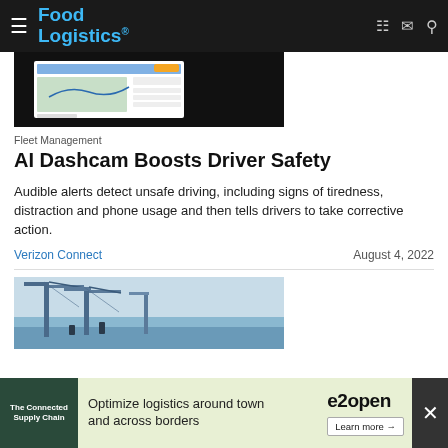Food Logistics
[Figure (screenshot): Screenshot of a fleet management software dashboard with map view]
Fleet Management
AI Dashcam Boosts Driver Safety
Audible alerts detect unsafe driving, including signs of tiredness, distraction and phone usage and then tells drivers to take corrective action.
Verizon Connect	August 4, 2022
[Figure (photo): Photo of large industrial cranes at a port]
[Figure (other): e2open advertisement banner: The Connected Supply Chain — Optimize logistics around town and across borders — Learn more]